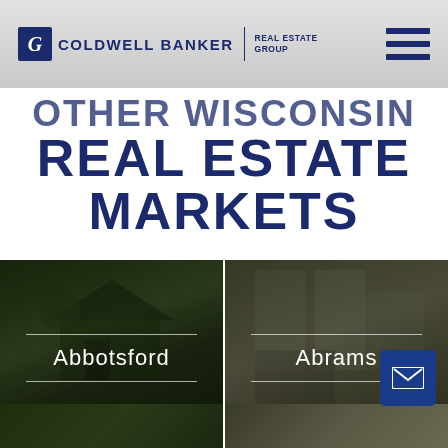[Figure (logo): Coldwell Banker Real Estate Group logo with hamburger menu icon]
OTHER WISCONSIN REAL ESTATE MARKETS
[Figure (photo): Dark house exterior photo card labeled Abbotsford]
[Figure (photo): Interior room photo card labeled Abrams]
[Figure (photo): Partially visible bottom row of photo cards]